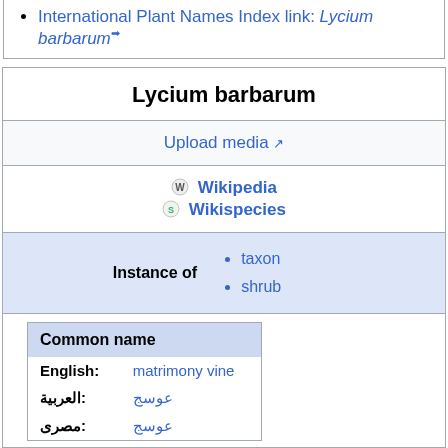International Plant Names Index link: Lycium barbarum ↗
Lycium barbarum
Upload media ↗
Wikipedia  Wikispecies
| Instance of | values |
| --- | --- |
| Instance of | taxon
shrub |
| Common name |
| --- |
| English: | matrimony vine |
| العربية: | عوسج |
| مصرى: | عوسج |